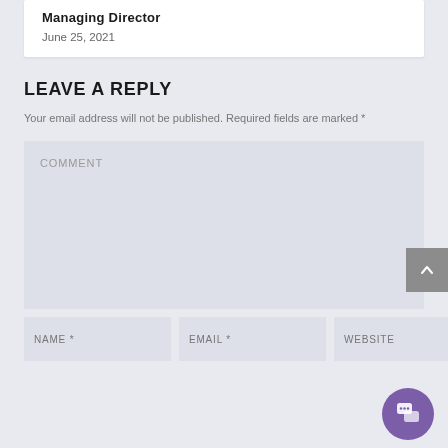Managing Director
June 25, 2021
LEAVE A REPLY
Your email address will not be published. Required fields are marked *
COMMENT
NAME *
EMAIL *
WEBSITE